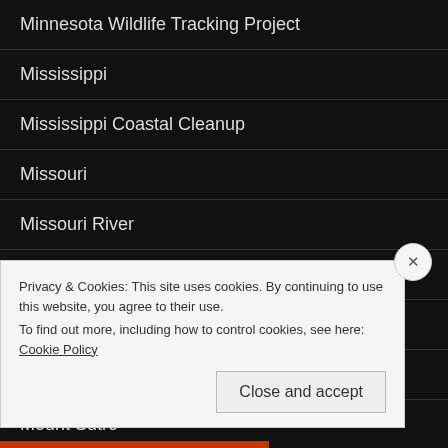Minnesota Wildlife Tracking Project
Mississippi
Mississippi Coastal Cleanup
Missouri
Missouri River
monarch butterflies
Montana
Moose
Mount Sutro
Privacy & Cookies: This site uses cookies. By continuing to use this website, you agree to their use.
To find out more, including how to control cookies, see here: Cookie Policy
Close and accept